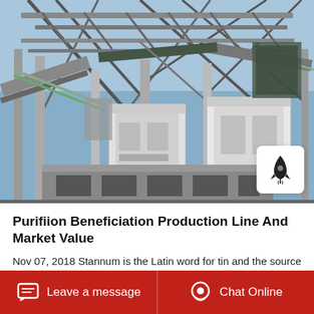[Figure (photo): Industrial beneficiation plant with steel framework, conveyor belts, large machinery and equipment under a clear blue sky.]
Purifiion Beneficiation Production Line And Market Value
Nov 07, 2018 Stannum is the Latin word for tin and the source of its chemical symbol Sn. The
Leave a message   Chat Online